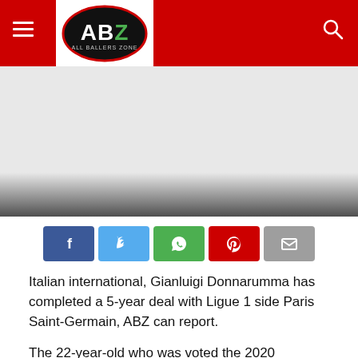ABZ All Ballers Zone
[Figure (screenshot): Gray advertisement/banner area with gradient fade at bottom]
[Figure (infographic): Social sharing buttons: Facebook, Twitter, WhatsApp, Pinterest, Email]
Italian international, Gianluigi Donnarumma has completed a 5-year deal with Ligue 1 side Paris Saint-Germain, ABZ can report.
The 22-year-old who was voted the 2020 European Championship Best Player after helping the Azzurri beat England in the final by saving two penalties from Jadon Sancho and Bukayo Saka will be out the French side until...